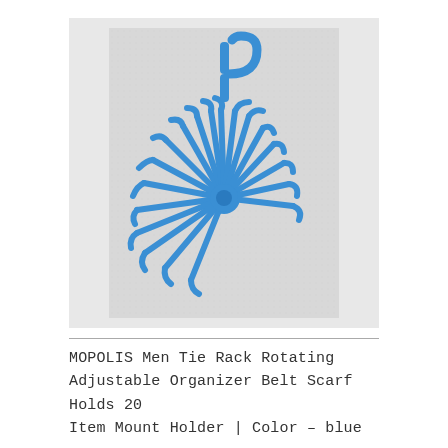[Figure (photo): A blue plastic rotating tie rack organizer with a hook at the top and approximately 20 radiating arms with hooked ends, arranged in a fan/semicircle pattern, photographed on a light gray textured background.]
MOPOLIS Men Tie Rack Rotating Adjustable Organizer Belt Scarf Holds 20 Item Mount Holder | Color – blue